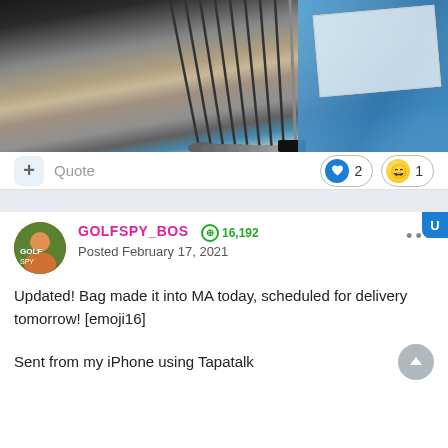[Figure (photo): Overhead photo of a set of golf irons/clubs leaning against a wall on carpet, with a blue folding chair and document visible on the right side]
+ Quote   ❤ 2   😆 1
GOLFSPY_BOS  ⊕ 16,192
Posted February 17, 2021
Updated! Bag made it into MA today, scheduled for delivery tomorrow! [emoji16]
Sent from my iPhone using Tapatalk